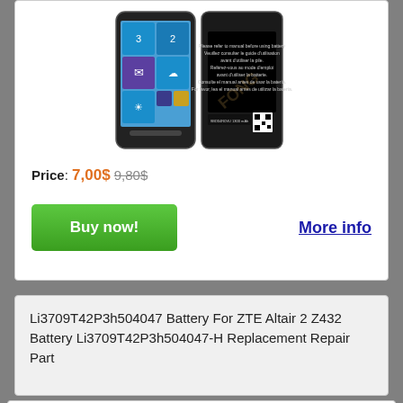[Figure (photo): Photo of a ZTE Lumia-style smartphone showing front and back views, back shows battery with Chinese text and QR code]
Price: 7,00$ 9,80$
Buy now!
More info
Li3709T42P3h504047 Battery For ZTE Altair 2 Z432 Battery Li3709T42P3h504047-H Replacement Repair Part